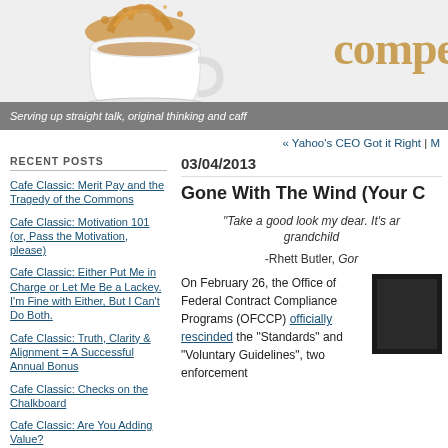[Figure (photo): Blog header banner with a white coffee cup splashing liquid, and the partial word 'compe' in gold/tan serif font on a light gray background. Below is a gray subtitle bar.]
Serving up straight talk, original thinking and caff
« Yahoo's CEO Got it Right | M
RECENT POSTS
Cafe Classic: Merit Pay and the Tragedy of the Commons
Cafe Classic: Motivation 101 (or, Pass the Motivation, please)
Cafe Classic: Either Put Me in Charge or Let Me Be a Lackey. I'm Fine with Either, But I Can't Do Both.
Cafe Classic: Truth, Clarity & Alignment = A Successful Annual Bonus
Cafe Classic: Checks on the Chalkboard
Cafe Classic: Are You Adding Value?
03/04/2013
Gone With The Wind (Your C
"Take a good look my dear. It's ar grandchild
-Rhett Butler, Gor
On February 26, the Office of Federal Contract Compliance Programs (OFCCP) officially rescinded the "Standards" and "Voluntary Guidelines", two enforcement